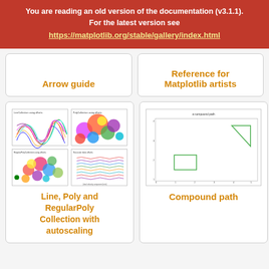You are reading an old version of the documentation (v3.1.1). For the latest version see https://matplotlib.org/stable/gallery/index.html
Arrow guide
Reference for Matplotlib artists
[Figure (screenshot): Four matplotlib subplot panels showing LineCollection, PolyCollection, RegularPolyCollection with offsets, and Gaussian data offsets]
Line, Poly and RegularPoly Collection with autoscaling
[Figure (screenshot): Matplotlib figure showing a compound path with a rectangle and triangle on a plot]
Compound path